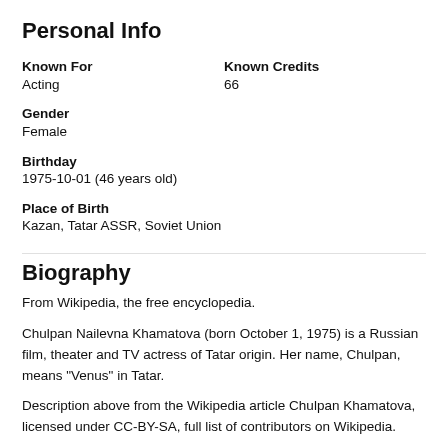Personal Info
Known For
Acting
Known Credits
66
Gender
Female
Birthday
1975-10-01 (46 years old)
Place of Birth
Kazan, Tatar ASSR, Soviet Union
Biography
From Wikipedia, the free encyclopedia.
Chulpan Nailevna Khamatova (born October 1, 1975) is a Russian film, theater and TV actress of Tatar origin. Her name, Chulpan, means "Venus" in Tatar.
Description above from the Wikipedia article Chulpan Khamatova, licensed under CC-BY-SA, full list of contributors on Wikipedia.